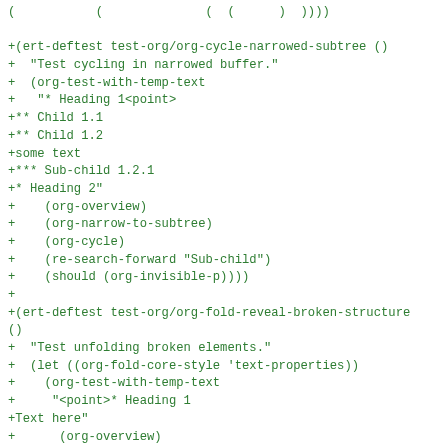+(ert-deftest test-org/org-cycle-narrowed-subtree ()
+  "Test cycling in narrowed buffer."
+  (org-test-with-temp-text
+   "* Heading 1<point>
+** Child 1.1
+** Child 1.2
+some text
+*** Sub-child 1.2.1
+* Heading 2"
+    (org-overview)
+    (org-narrow-to-subtree)
+    (org-cycle)
+    (re-search-forward "Sub-child")
+    (should (org-invisible-p))))
+
+(ert-deftest test-org/org-fold-reveal-broken-structure
()
+  "Test unfolding broken elements."
+  (let ((org-fold-core-style 'text-properties))
+    (org-test-with-temp-text
+     "<point>* Heading 1
+Text here"
+      (org-overview)
+      (re-search-forward "Text")
+      (should (org-invisible-p))
+      (goto-char 1)
+      (delete-char 1)
+      (re-search-forward "Text")
+      (should-not (org-invisible-p)))